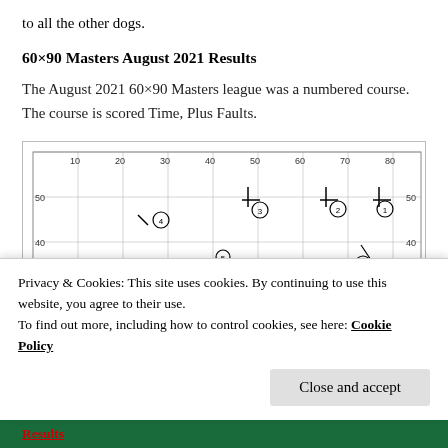to all the other dogs.
60×90 Masters August 2021 Results
The August 2021 60×90 Masters league was a numbered course. The course is scored Time, Plus Faults.
[Figure (engineering-diagram): Agility course map with numbered obstacles on a grid. Grid lines at 10-unit intervals from 10 to 80 on x-axis and 30 to 50 on y-axis (visible). Obstacles numbered 1-5, 12, 15 visible with jump bars and weave poles shown as symbols.]
Privacy & Cookies: This site uses cookies. By continuing to use this website, you agree to their use.
To find out more, including how to control cookies, see here: Cookie Policy
Close and accept
Results